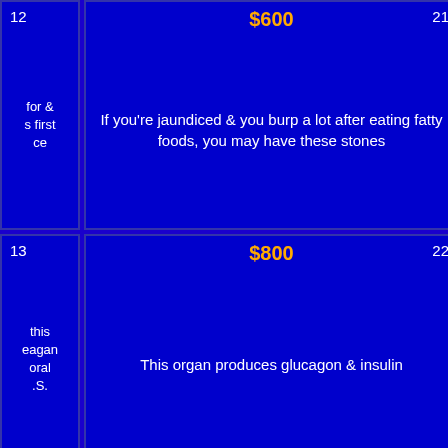| 12 | $600 / 21 | $600 / 6 | $6... |
| (partial left text) | If you're jaundiced & you burp a lot after eating fatty foods, you may have these stones | Tybalt is this title teenage girl's first cousin | Florida's name... of these, no... pa... |
| 13 | $800 / 22 | $800 / 7 | $8... |
| (partial left text) | This organ produces glucagon & insulin | Prospero is a magician who has the power to create storms in this enchanted play | A 1990 lante... tour marke... anniversary o... rebel d... |
| 14 | $1000 / 24 | DD: $1,000 / 9 | $10... |